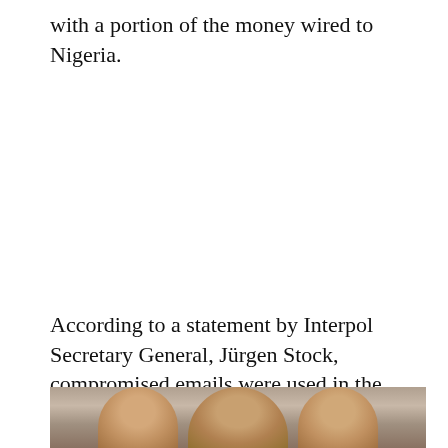with a portion of the money wired to Nigeria.
According to a statement by Interpol Secretary General, Jürgen Stock, compromised emails were used in the “highly sophisticated fraud”.
[Figure (photo): Partial photo of people, cropped at bottom of page]